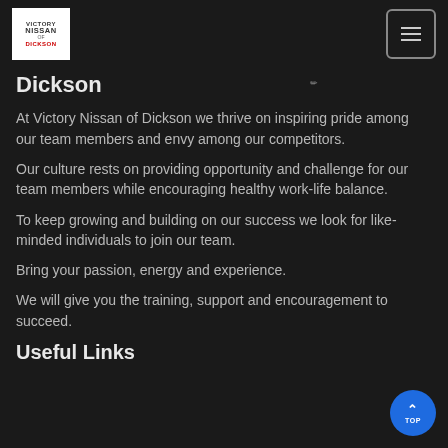Victory Nissan of Dickson [logo] [menu button]
Dickson
At Victory Nissan of Dickson we thrive on inspiring pride among our team members and envy among our competitors.
Our culture rests on providing opportunity and challenge for our team members while encouraging healthy work-life balance.
To keep growing and building on our success we look for like-minded individuals to join our team.
Bring your passion, energy and experience.
We will give you the training, support and encouragement to succeed.
Useful Links